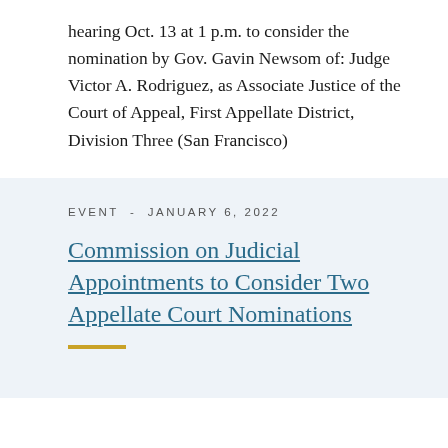hearing Oct. 13 at 1 p.m. to consider the nomination by Gov. Gavin Newsom of: Judge Victor A. Rodriguez, as Associate Justice of the Court of Appeal, First Appellate District, Division Three (San Francisco)
EVENT - JANUARY 6, 2022
Commission on Judicial Appointments to Consider Two Appellate Court Nominations